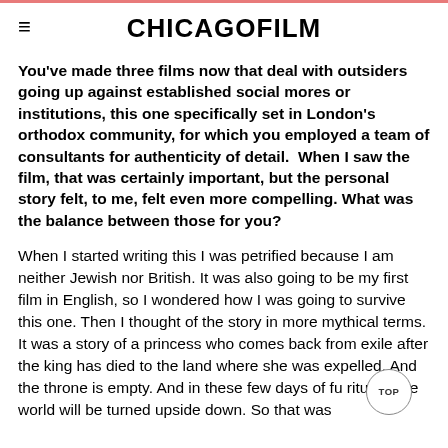CHICAGOFILM
You've made three films now that deal with outsiders going up against established social mores or institutions, this one specifically set in London's orthodox community, for which you employed a team of consultants for authenticity of detail.  When I saw the film, that was certainly important, but the personal story felt, to me, felt even more compelling. What was the balance between those for you?
When I started writing this I was petrified because I am neither Jewish nor British. It was also going to be my first film in English, so I wondered how I was going to survive this one. Then I thought of the story in more mythical terms. It was a story of a princess who comes back from exile after the king has died to the land where she was expelled. And the throne is empty. And in these few days of fu rituals, the world will be turned upside down. So that was